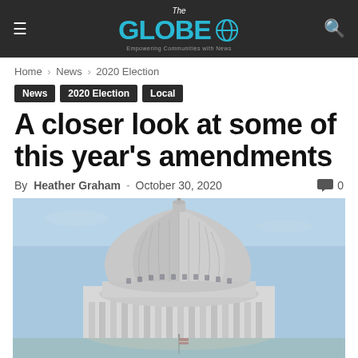The Globe — News Website Header
Home › News › 2020 Election
News
2020 Election
Local
A closer look at some of this year's amendments
By Heather Graham - October 30, 2020
[Figure (photo): Capitol building dome photographed from below against a blue sky, showing classical architecture with columns and a large dome]